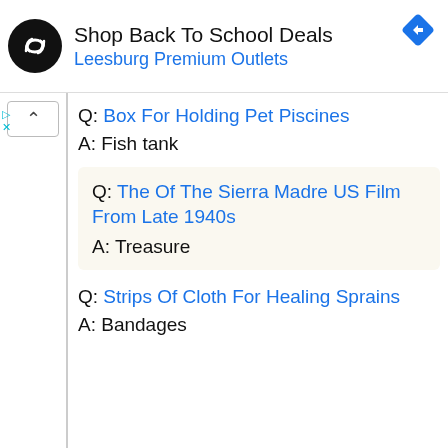[Figure (other): Advertisement banner: black circular logo with double arrow icon, text 'Shop Back To School Deals', subtitle 'Leesburg Premium Outlets' in blue, blue diamond navigation icon top right, small play and close icons top left]
Q: Box For Holding Pet Piscines
A: Fish tank
Q: The Of The Sierra Madre US Film From Late 1940s
A: Treasure
Q: Strips Of Cloth For Healing Sprains
A: Bandages